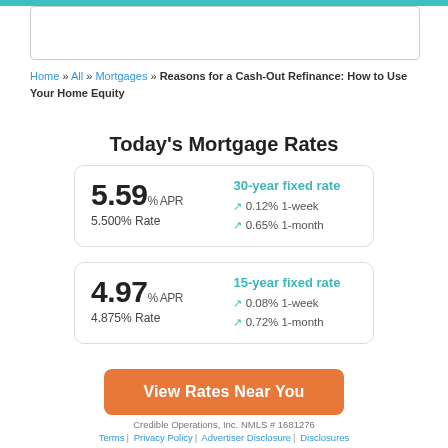[Figure (other): Teal top bar and placeholder image box]
Home » All » Mortgages » Reasons for a Cash-Out Refinance: How to Use Your Home Equity
Today's Mortgage Rates
5.59% APR 5.500% Rate | 30-year fixed rate ↗ 0.12% 1-week ↗ 0.65% 1-month
4.97% APR 4.875% Rate | 15-year fixed rate ↗ 0.08% 1-week ↗ 0.72% 1-month
View Rates Near You
Credible Operations, Inc. NMLS # 1681276
Terms | Privacy Policy | Advertiser Disclosure | Disclosures